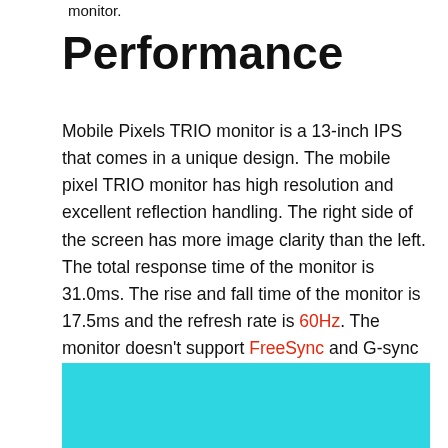monitor.
Performance
Mobile Pixels TRIO monitor is a 13-inch IPS that comes in a unique design. The mobile pixel TRIO monitor has high resolution and excellent reflection handling. The right side of the screen has more image clarity than the left. The total response time of the monitor is 31.0ms. The rise and fall time of the monitor is 17.5ms and the refresh rate is 60Hz. The monitor doesn't support FreeSync and G-sync technology.
[Figure (other): Cyan/teal colored box at bottom of page, partially visible]